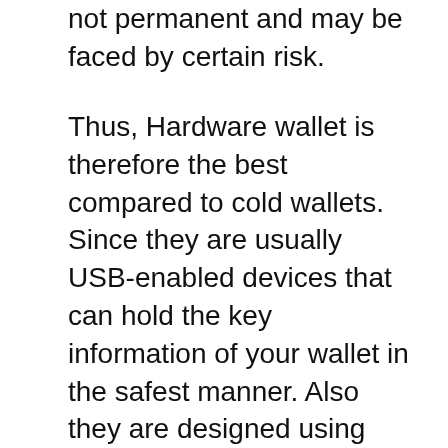not permanent and may be faced by certain risk.
Thus, Hardware wallet is therefore the best compared to cold wallets. Since they are usually USB-enabled devices that can hold the key information of your wallet in the safest manner. Also they are designed using military-level security and their firmware's are continuously upgraded by their manufacturers and this makes them extra safe to use.  For example, Ledger Nano S and Ledger Nano X and are most common hardware wallets, you can buy one at $50 to $100 depending on the specifications they have.  I highly recommend these for holding your assets because these wallets are a worthy every penny according to my